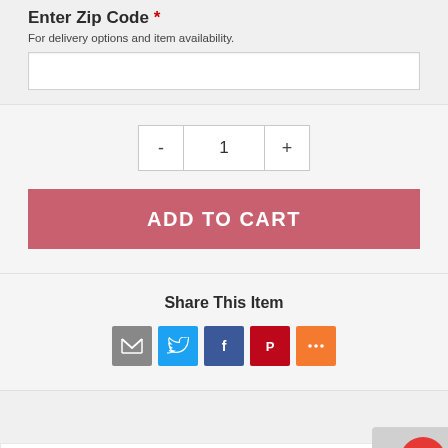Enter Zip Code *
For delivery options and item availability.
1
ADD TO CART
Share This Item
[Figure (infographic): Social share icons: email (gray), Twitter (blue), Facebook (dark blue), Pinterest (red), More (orange)]
OVERVIEW